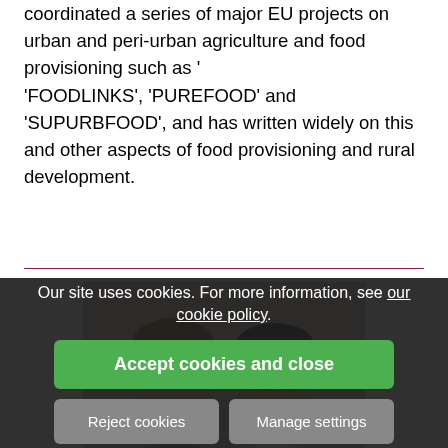coordinated a series of major EU projects on urban and peri-urban agriculture and food provisioning such as ''FOODLINKS', 'PUREFOOD' and 'SUPURBFOOD', and has written widely on this and other aspects of food provisioning and rural development.
[Figure (photo): Photograph of two men — one Caucasian man in a blue shirt on the left, and one Asian man wearing glasses in a white shirt on the right, standing side by side.]
Dr Grenvs and Dr Chonggao s
Burleigh Dodds Science Publishing is delighted to announce ... dao LI have agreed to edit our forthcoming collection: 'Achieving sustainab ... Fellow of the Institute of Brewing and Distilling, is currently a